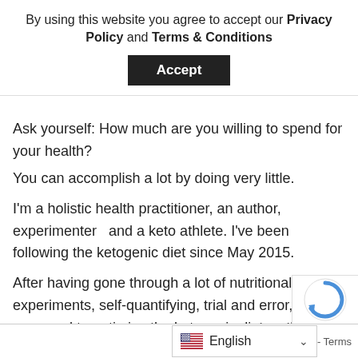By using this website you agree to accept our Privacy Policy and Terms & Conditions
Accept
Ask yourself: How much are you willing to spend for your health?
You can accomplish a lot by doing very little.
I'm a holistic health practitioner, an author, experimenter  and a keto athlete. I've been following the ketogenic diet since May 2015.
After having gone through a lot of nutritional experiments, self-quantifying, trial and error, I've managed to optimize the ketogenic diet so that it would turn me almost into Superhuman.
With the help of this program
English
- Terms